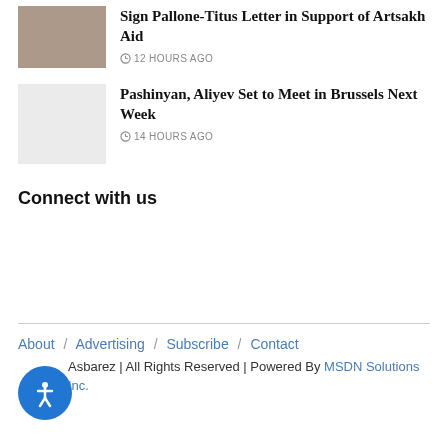Sign Pallone-Titus Letter in Support of Artsakh Aid
12 HOURS AGO
Pashinyan, Aliyev Set to Meet in Brussels Next Week
14 HOURS AGO
Connect with us
About / Advertising / Subscribe / Contact
Asbarez | All Rights Reserved | Powered By MSDN Solutions Inc.